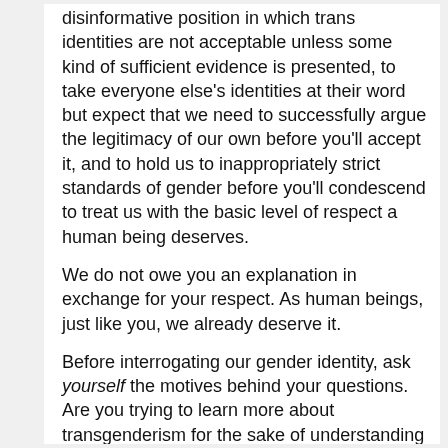disinformative position in which trans identities are not acceptable unless some kind of sufficient evidence is presented, to take everyone else's identities at their word but expect that we need to successfully argue the legitimacy of our own before you'll accept it, and to hold us to inappropriately strict standards of gender before you'll condescend to treat us with the basic level of respect a human being deserves.
We do not owe you an explanation in exchange for your respect. As human beings, just like you, we already deserve it.
Before interrogating our gender identity, ask yourself the motives behind your questions. Are you trying to learn more about transgenderism for the sake of understanding it better, for the sake of compassion? Or are you asking because you think we're not really what we claim to be or are a threat or don't fit into your worldview and you expect proof before you'll accept anything we say or are?
Proof and evidence are wholly reasonable things to expect